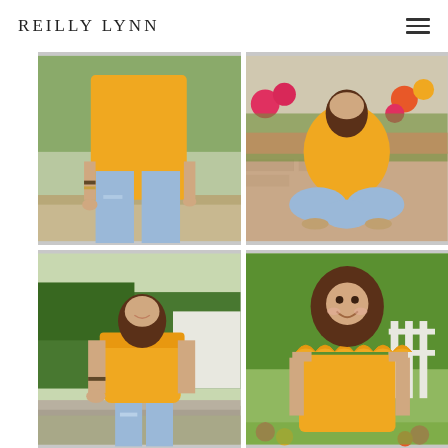REILLY LYNN
[Figure (photo): Close-up of a young woman from torso down, wearing a yellow top and distressed light blue jeans, standing near a wooden rail outdoors.]
[Figure (photo): Young woman sitting cross-legged on a brick patio in a yellow top and distressed jeans, with colorful flowers in the background.]
[Figure (photo): Young woman in a yellow off-shoulder ruffled top and jeans sitting on a stone ledge outdoors with lush green shrubs behind her.]
[Figure (photo): Young woman smiling brightly wearing a yellow off-shoulder scalloped top, with green trees and flowers in the background.]